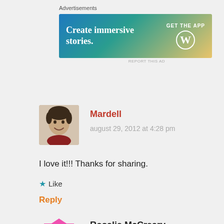Advertisements
[Figure (screenshot): WordPress advertisement banner: 'Create immersive stories.' with 'GET THE APP' and WordPress logo on gradient blue-green-yellow background]
REPORT THIS AD
Mardell
august 29, 2012 at 4:28 pm
[Figure (photo): Profile photo of Mardell, a woman with short dark hair, smiling]
I love it!!! Thanks for sharing.
Like
Reply
Rosalie McCreary
august 29, 2012 at 10:38 pm
[Figure (illustration): Pink geometric/abstract avatar icon for Rosalie McCreary]